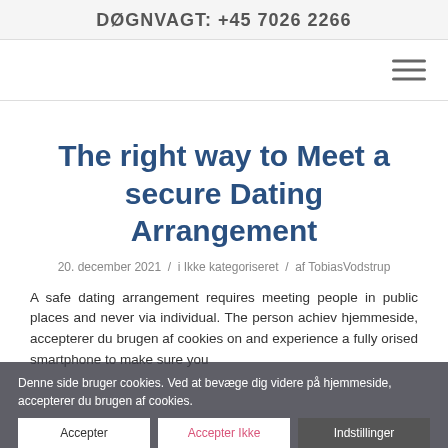DØGNVAGT: +45 7026 2266
[Figure (other): Hamburger menu icon (three horizontal lines) in the navigation bar]
The right way to Meet a secure Dating Arrangement
20. december 2021 / i Ikke kategoriseret / af TobiasVodstrup
A safe dating arrangement requires meeting people in public places and never via individual. The person achiev hjemmeside, accepterer du brugen af cookies on and experience a fully orised smartphone to make sure you
Denne side bruger cookies. Ved at bevæge dig videre på hjemmeside, accepterer du brugen af cookies.
Accepter | Accepter Ikke | Indstillinger